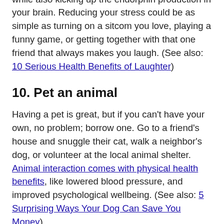relaxation, and enhances your intake of oxygen. Basically, you get the benefits of deep breathing, while also kicking up the endorphin production in your brain. Reducing your stress could be as simple as turning on a sitcom you love, playing a funny game, or getting together with that one friend that always makes you laugh. (See also: 10 Serious Health Benefits of Laughter)
10. Pet an animal
Having a pet is great, but if you can't have your own, no problem; borrow one. Go to a friend's house and snuggle their cat, walk a neighbor's dog, or volunteer at the local animal shelter. Animal interaction comes with physical health benefits, like lowered blood pressure, and improved psychological wellbeing. (See also: 5 Surprising Ways Your Dog Can Save You Money)